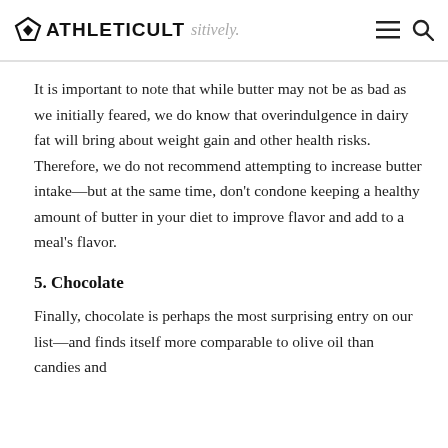ATHLETICULT
It is important to note that while butter may not be as bad as we initially feared, we do know that overindulgence in dairy fat will bring about weight gain and other health risks. Therefore, we do not recommend attempting to increase butter intake—but at the same time, don't condone keeping a healthy amount of butter in your diet to improve flavor and add to a meal's flavor.
5. Chocolate
Finally, chocolate is perhaps the most surprising entry on our list—and finds itself more comparable to olive oil than candies and